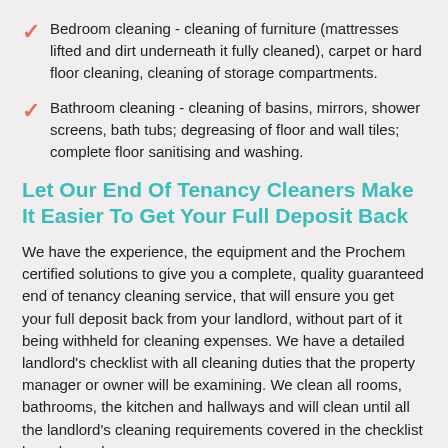Bedroom cleaning - cleaning of furniture (mattresses lifted and dirt underneath it fully cleaned), carpet or hard floor cleaning, cleaning of storage compartments.
Bathroom cleaning - cleaning of basins, mirrors, shower screens, bath tubs; degreasing of floor and wall tiles; complete floor sanitising and washing.
Let Our End Of Tenancy Cleaners Make It Easier To Get Your Full Deposit Back
We have the experience, the equipment and the Prochem certified solutions to give you a complete, quality guaranteed end of tenancy cleaning service, that will ensure you get your full deposit back from your landlord, without part of it being withheld for cleaning expenses. We have a detailed landlord's checklist with all cleaning duties that the property manager or owner will be examining. We clean all rooms, bathrooms, the kitchen and hallways and will clean until all the landlord's cleaning requirements covered in the checklist have been done.